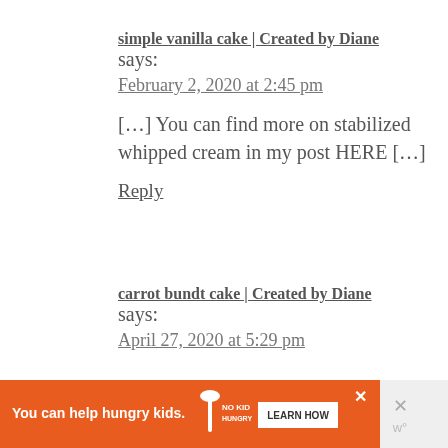simple vanilla cake | Created by Diane says:
February 2, 2020 at 2:45 pm
[…] You can find more on stabilized whipped cream in my post HERE […]
Reply
carrot bundt cake | Created by Diane says:
April 27, 2020 at 5:29 pm
You can help hungry kids.  LEARN HOW